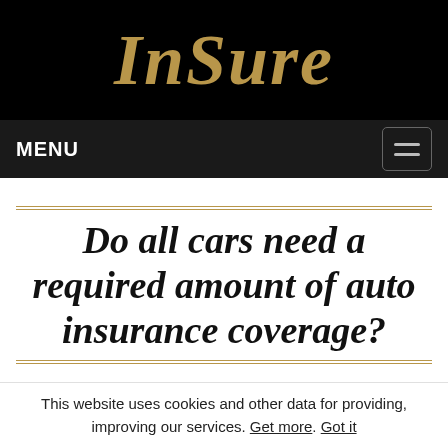InSure
MENU
Do all cars need a required amount of auto insurance coverage?
Things to Remember....
This website uses cookies and other data for providing, improving our services. Get more. Got it